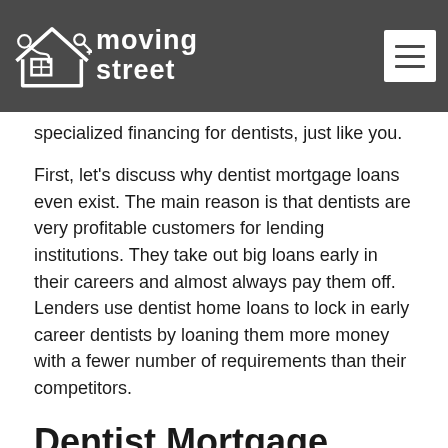moving street (logo/navigation header)
specialized financing for dentists, just like you.
First, let’s discuss why dentist mortgage loans even exist. The main reason is that dentists are very profitable customers for lending institutions. They take out big loans early in their careers and almost always pay them off. Lenders use dentist home loans to lock in early career dentists by loaning them more money with a fewer number of requirements than their competitors.
Dentist Mortgage Experts In Colorado Springs Colorado
If you are looking for a dentist home loan in Colorado Springs Colorado then you came to the perfect place.